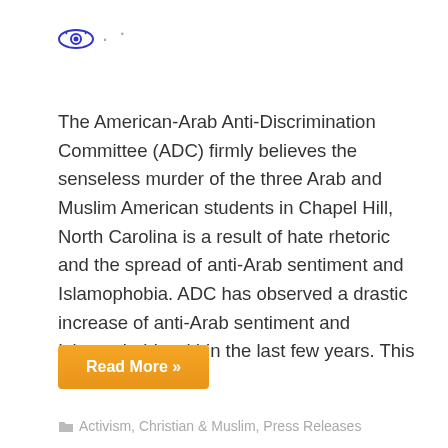[Figure (logo): Eye icon logo with two dots beside it]
The American-Arab Anti-Discrimination Committee (ADC) firmly believes the senseless murder of the three Arab and Muslim American students in Chapel Hill, North Carolina is a result of hate rhetoric and the spread of anti-Arab sentiment and Islamophobia. ADC has observed a drastic increase of anti-Arab sentiment and Islamophobia within the last few years. This increase...
Read More »
Activism, Christian & Muslim, Press Releases
Edjteehad in the West: fighting Islamic extremism